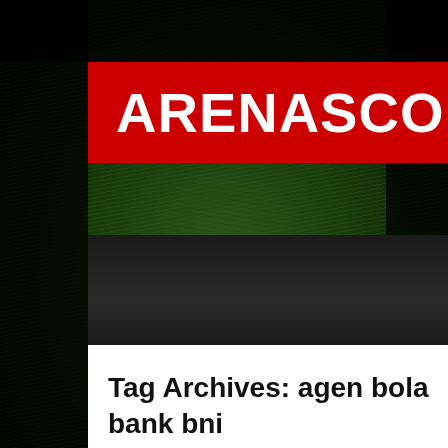[Figure (logo): ARENASCORE logo with red background and white bold text, with a yellow accent rectangle to the right]
Tag Archives: agen bola bank bni